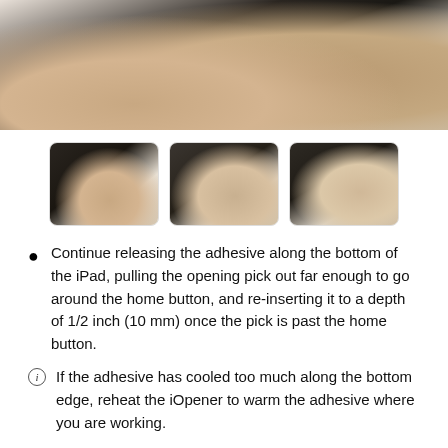[Figure (photo): Close-up photo of a person's hand pressing on the corner of a tablet device (iPad) from above, on a white surface.]
[Figure (photo): Three thumbnail photos side by side showing progressive steps of a hand opening/separating a tablet (iPad) screen from its body.]
Continue releasing the adhesive along the bottom of the iPad, pulling the opening pick out far enough to go around the home button, and re-inserting it to a depth of 1/2 inch (10 mm) once the pick is past the home button.
If the adhesive has cooled too much along the bottom edge, reheat the iOpener to warm the adhesive where you are working.
Do not heat the iOpener more than a minute at a time, and always allow at least two minutes before